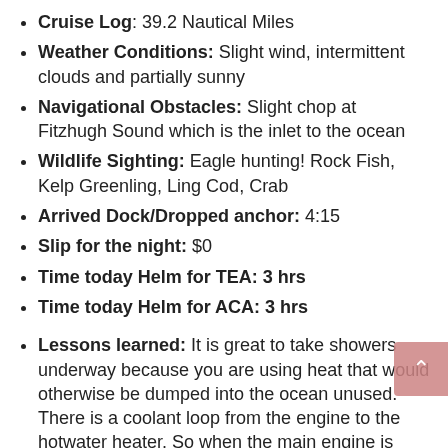Cruise Log: 39.2 Nautical Miles
Weather Conditions: Slight wind, intermittent clouds and partially sunny
Navigational Obstacles: Slight chop at Fitzhugh Sound which is the inlet to the ocean
Wildlife Sighting: Eagle hunting! Rock Fish, Kelp Greenling, Ling Cod, Crab
Arrived Dock/Dropped anchor: 4:15
Slip for the night: $0
Time today Helm for TEA: 3 hrs
Time today Helm for ACA: 3 hrs
Lessons learned: It is great to take showers underway because you are using heat that would otherwise be dumped into the ocean unused. There is a coolant loop from the engine to the hotwater heater. So when the main engine is running it is heating the water in the hot water heater to the same temperature as the engine coolant which is 180 degrees. So underway you can have all the hot water you want and since we carry 300 gallons, a long shower is ok too! The hotwater heater is 20 gallons and that is plenty, especially now that I